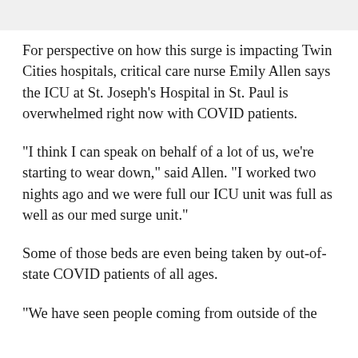For perspective on how this surge is impacting Twin Cities hospitals, critical care nurse Emily Allen says the ICU at St. Joseph's Hospital in St. Paul is overwhelmed right now with COVID patients.
"I think I can speak on behalf of a lot of us, we're starting to wear down," said Allen. "I worked two nights ago and we were full our ICU unit was full as well as our med surge unit."
Some of those beds are even being taken by out-of-state COVID patients of all ages.
"We have seen people coming from outside of the